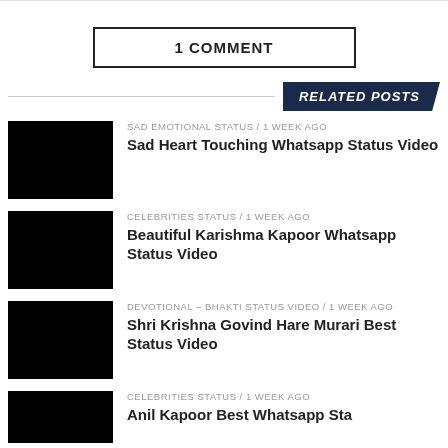1 COMMENT
RELATED POSTS
[Figure (photo): Black thumbnail image for Sad Heart Touching Whatsapp Status Video]
SAD EMOTIONAL STATUS / 1 week ago
Sad Heart Touching Whatsapp Status Video
[Figure (photo): Black thumbnail image for Beautiful Karishma Kapoor Whatsapp Status Video]
CELEBRITIES STATUS / 1 week ago
Beautiful Karishma Kapoor Whatsapp Status Video
[Figure (photo): Black thumbnail image for Shri Krishna Govind Hare Murari Best Status Video]
DEVOTIONAL – BHAKTI STATUS VIDEO / 1 week ago
Shri Krishna Govind Hare Murari Best Status Video
[Figure (photo): Black thumbnail image for Anil Kapoor Best Whatsapp Status]
CELEBRITIES STATUS / 1 week ago
Anil Kapoor Best Whatsapp Sta...